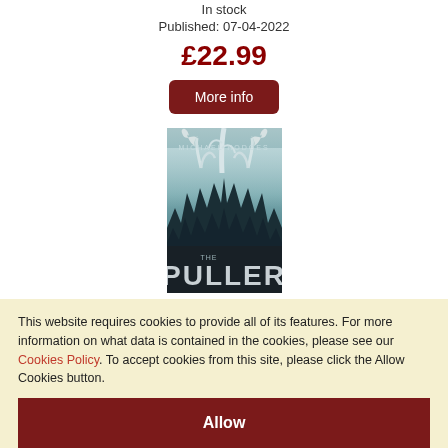In stock
Published: 07-04-2022
£22.99
More info
[Figure (illustration): Book cover for 'The Puller' by Michael Hodges. Shows a moody, foggy forest scene with large antlers emerging from the mist above dark pine trees. Title 'THE PULLER' appears in large text at the bottom, 'MICHAEL HODGES' at the top.]
This website requires cookies to provide all of its features. For more information on what data is contained in the cookies, please see our Cookies Policy. To accept cookies from this site, please click the Allow Cookies button.
Allow